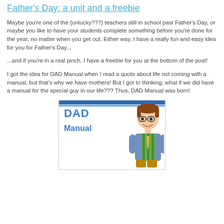Father's Day: a unit and a freebie
Maybe you're one of the {unlucky???} teachers still in school past Father's Day, or maybe you like to have your students complete something before you're done for the year, no matter when you get out. Either way, I have a really fun and easy idea for you for Father's Day...
...and if you're in a real pinch, I have a freebie for you at the bottom of the post!
I got the idea for DAD Manual when I read a quote about life not coming with a manual, but that's why we have mothers! But I got to thinking, what if we did have a manual for the special guy in our life??? Thus, DAD Manual was born!
[Figure (illustration): Cover of a DAD Manual booklet with blue text reading 'DAD Manual' in crayon-style letters, alongside a cartoon illustration of a dad character wearing glasses, a striped shirt, and khaki pants.]